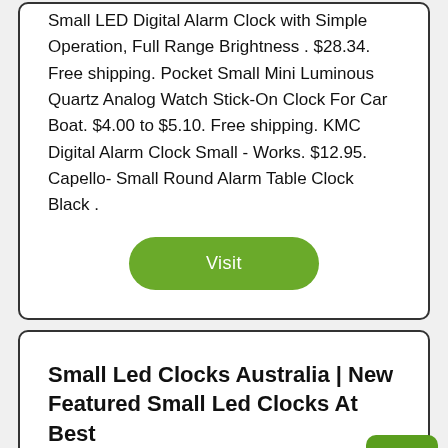Small LED Digital Alarm Clock with Simple Operation, Full Range Brightness . $28.34. Free shipping. Pocket Small Mini Luminous Quartz Analog Watch Stick-On Clock For Car Boat. $4.00 to $5.10. Free shipping. KMC Digital Alarm Clock Small - Works. $12.95. Capello- Small Round Alarm Table Clock Black .
[Figure (other): Green pill-shaped Visit button]
Small Led Clocks Australia | New Featured Small Led Clocks At Best ...